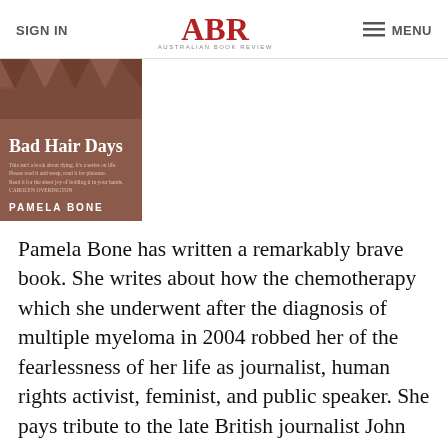SIGN IN | ABR - Australian Book Review | MENU
[Figure (photo): Book cover of 'Bad Hair Days' by Pamela Bone, with a brownish-red background and geometric pattern at top]
Pamela Bone has written a remarkably brave book. She writes about how the chemotherapy which she underwent after the diagnosis of multiple myeloma in 2004 robbed her of the fearlessness of her life as journalist, human rights activist, feminist, and public speaker. She pays tribute to the late British journalist John Diamond, who insisted that writing about his